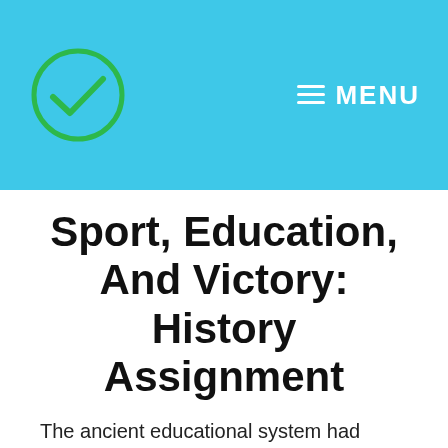MENU
Sport, Education, And Victory: History Assignment
The ancient educational system had sport in it as it was believed to promote excellence in life. Currently, the modern academic athletic programs have a common goal of promoting winning. Such goals raise an argument on the